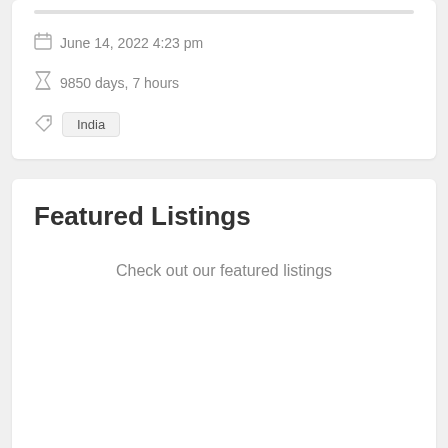June 14, 2022 4:23 pm
9850 days, 7 hours
India
Featured Listings
Check out our featured listings